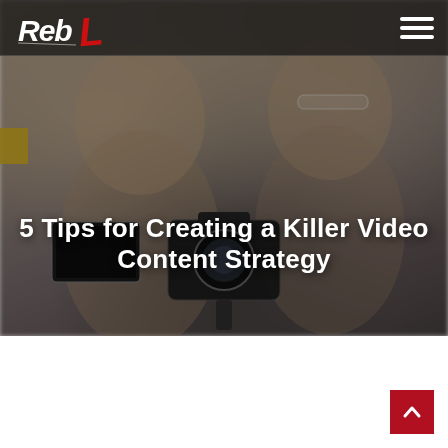[Figure (photo): Hero image of two women in front of a camera/video recording setup, with a blurred background. The image has a dark overlay. Contains a navigation header with a logo (RebL) and hamburger menu icon.]
5 Tips for Creating a Killer Video Content Strategy
[Figure (other): Red scroll-to-top button with upward chevron arrow, positioned at bottom-right of the page]